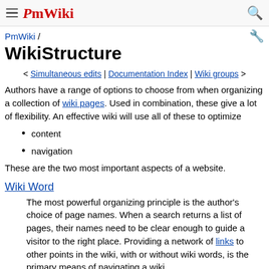PmWiki [hamburger menu] [search icon]
PmWiki /
WikiStructure
< Simultaneous edits | Documentation Index | Wiki groups >
Authors have a range of options to choose from when organizing a collection of wiki pages. Used in combination, these give a lot of flexibility. An effective wiki will use all of these to optimize
content
navigation
These are the two most important aspects of a website.
Wiki Word
The most powerful organizing principle is the author's choice of page names. When a search returns a list of pages, their names need to be clear enough to guide a visitor to the right place. Providing a network of links to other points in the wiki, with or without wiki words, is the primary means of navigating a wiki.